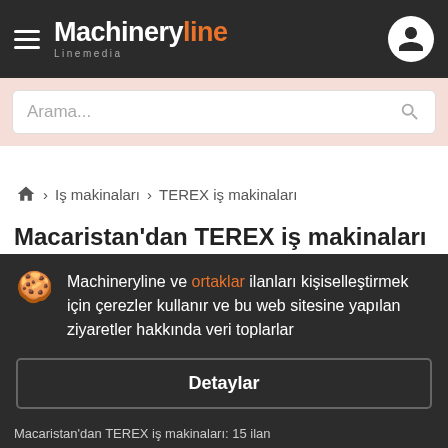Machineryline Linemedia
Arama...
Iş makinaları › TEREX iş makinaları
Macaristan'dan TEREX iş makinaları
Machineryline ve ortaklar ilanları kişiselleştirmek için çerezler kullanır ve bu web sitesine yapılan ziyaretler hakkında veri toplarlar
Detaylar
Kabul et ve kapat
Macaristan'dan TEREX iş makinaları: 15 ilan